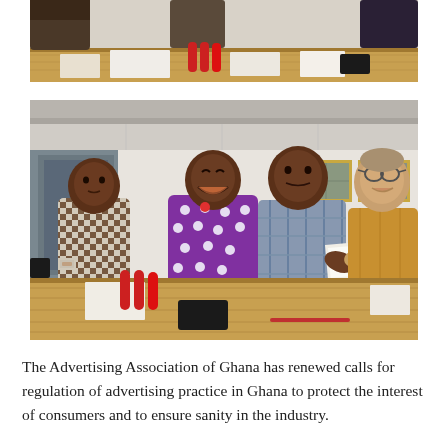[Figure (photo): Top portion of a meeting scene showing people seated around a wooden conference table with papers, water bottles, and documents. Partial view from above.]
[Figure (photo): Four men standing in an office/conference room. One man in a patterned purple/white shirt is smiling broadly. A younger man in a checkered shirt stands to the left. Two men on the right are shaking hands and exchanging documents. The man on the far right wears a yellow/mustard shirt. They are standing behind a wooden conference table. Framed pictures are visible on the wall in the background.]
The Advertising Association of Ghana has renewed calls for regulation of advertising practice in Ghana to protect the interest of consumers and to ensure sanity in the industry.